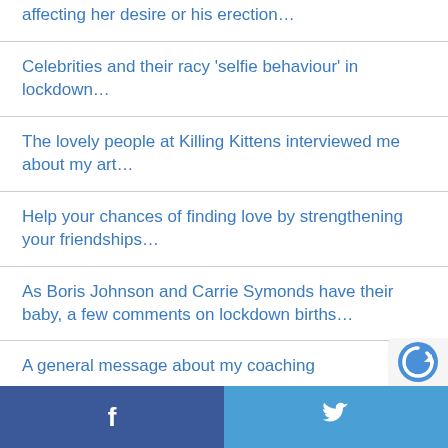affecting her desire or his erection…
Celebrities and their racy 'selfie behaviour' in lockdown…
The lovely people at Killing Kittens interviewed me about my art…
Help your chances of finding love by strengthening your friendships…
As Boris Johnson and Carrie Symonds have their baby, a few comments on lockdown births…
A general message about my coaching